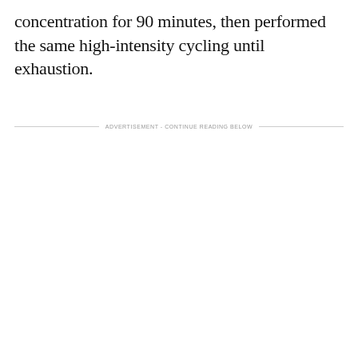concentration for 90 minutes, then performed the same high-intensity cycling until exhaustion.
ADVERTISEMENT - CONTINUE READING BELOW